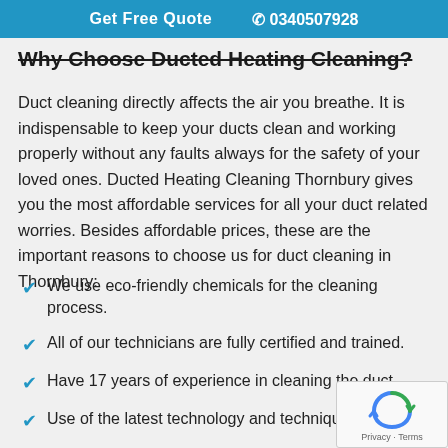Get Free Quote   0340507928
Why Choose Ducted Heating Cleaning?
Duct cleaning directly affects the air you breathe. It is indispensable to keep your ducts clean and working properly without any faults always for the safety of your loved ones. Ducted Heating Cleaning Thornbury gives you the most affordable services for all your duct related worries. Besides affordable prices, these are the important reasons to choose us for duct cleaning in Thornbury:
We use eco-friendly chemicals for the cleaning process.
All of our technicians are fully certified and trained.
Have 17 years of experience in cleaning the duct.
Use of the latest technology and techniques.
100 % customer satisfaction.
Remove all bacteria, germs and other airborne allergens